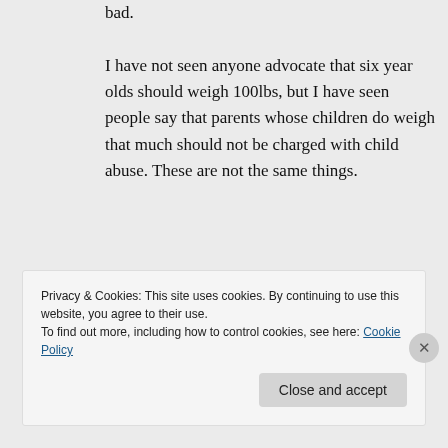bad. I have not seen anyone advocate that six year olds should weigh 100lbs, but I have seen people say that parents whose children do weigh that much should not be charged with child abuse. These are not the same things.
★ Like
↪ Reply
Privacy & Cookies: This site uses cookies. By continuing to use this website, you agree to their use. To find out more, including how to control cookies, see here: Cookie Policy
Close and accept